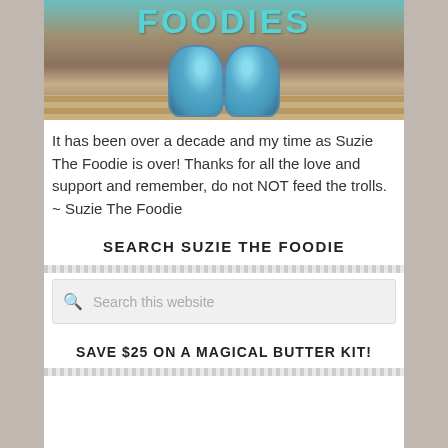[Figure (photo): Photo showing teal/cyan patterned shoes standing on a wooden surface in front of a sign that reads FOODIES in teal letters on a background of wood chips]
It has been over a decade and my time as Suzie The Foodie is over! Thanks for all the love and support and remember, do not NOT feed the trolls. ~ Suzie The Foodie
SEARCH SUZIE THE FOODIE
[Figure (screenshot): Search box with placeholder text 'Search this website']
SAVE $25 ON A MAGICAL BUTTER KIT!